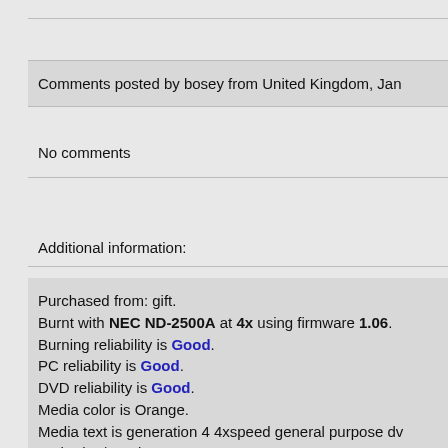Comments posted by bosey from United Kingdom, Jan
No comments
Additional information:
Purchased from: gift.
Burnt with NEC ND-2500A at 4x using firmware 1.06.
Burning reliability is Good.
PC reliability is Good.
DVD reliability is Good.
Media color is Orange.
Media text is generation 4 4xspeed general purpose dv
Authoring/Burning comments:
Burnt with NEC ND-2500 @ 4.2x (as reported by dvd de
played on my cheapo yamada 5320 no probs! (but not
wharfdale 750 [non 's'])
Works fine on Yamada DVDSlim-5320